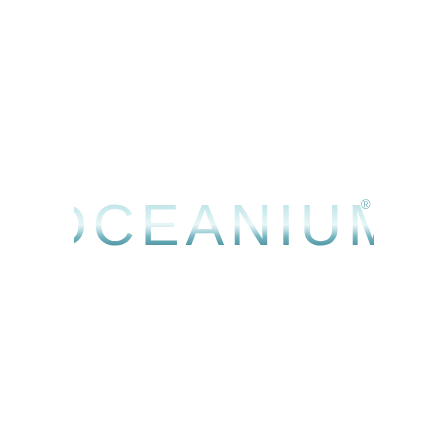[Figure (logo): OCEANIUM logo — large uppercase letterforms in a gradient from pale icy blue-white at top to medium teal at bottom, with a registered trademark symbol after the final M. The letters have a semi-transparent, glassy quality with a subtle horizontal band of lighter color across the mid-section.]